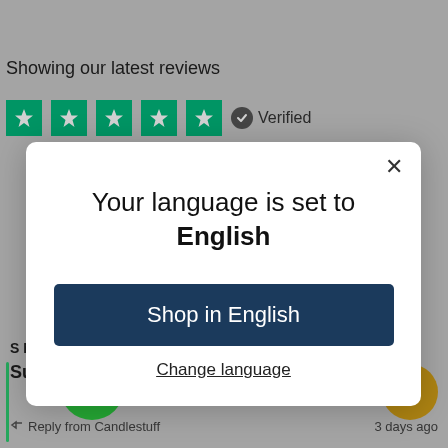Showing our latest reviews
[Figure (screenshot): Five green star rating boxes with a verified badge]
[Figure (screenshot): Modal dialog: 'Your language is set to English' with 'Shop in English' button and 'Change language' link, with close X button]
S Moore, 5 days ago
Sur…nge
Reply from Candlestuff
3 days ago